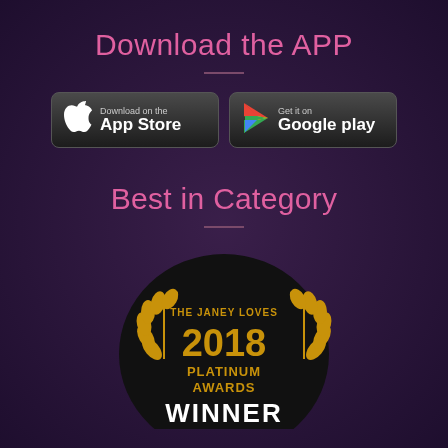Download the APP
[Figure (illustration): App Store and Google Play download buttons side by side on dark rounded rectangle backgrounds]
Best in Category
[Figure (logo): The Janey Loves 2018 Platinum Awards Winner badge - circular black badge with gold laurel wreath and text: THE JANEY LOVES 2018 PLATINUM AWARDS WINNER]